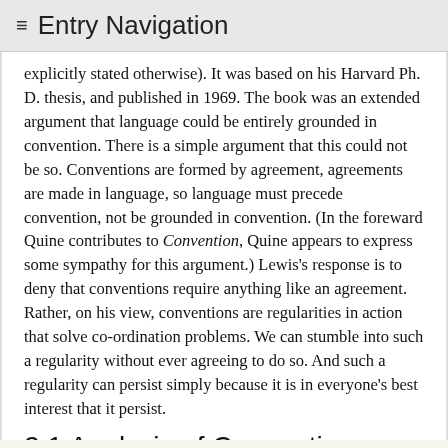≡ Entry Navigation
explicitly stated otherwise). It was based on his Harvard Ph. D. thesis, and published in 1969. The book was an extended argument that language could be entirely grounded in convention. There is a simple argument that this could not be so. Conventions are formed by agreement, agreements are made in language, so language must precede convention, not be grounded in convention. (In the foreward Quine contributes to Convention, Quine appears to express some sympathy for this argument.) Lewis's response is to deny that conventions require anything like an agreement. Rather, on his view, conventions are regularities in action that solve co-ordination problems. We can stumble into such a regularity without ever agreeing to do so. And such a regularity can persist simply because it is in everyone's best interest that it persist.
2.1 Analysis of Convention
Lewis viewed conventions as solutions to co-ordination